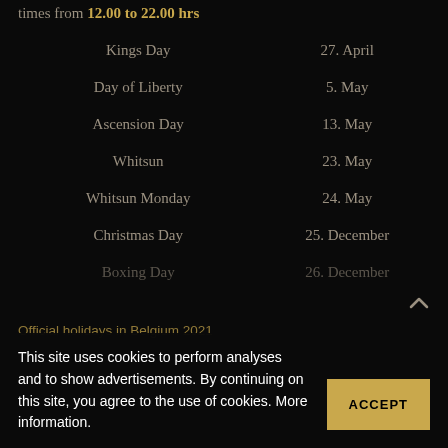times from 12.00 to 22.00 hrs
| Holiday | Date |
| --- | --- |
| Kings Day | 27. April |
| Day of Liberty | 5. May |
| Ascension Day | 13. May |
| Whitsun | 23. May |
| Whitsun Monday | 24. May |
| Christmas Day | 25. December |
| Boxing Day | 26. December |
Official holidays in Belgium 2021
This site uses cookies to perform analyses and to show advertisements. By continuing on this site, you agree to the use of cookies. More information.
ACCEPT